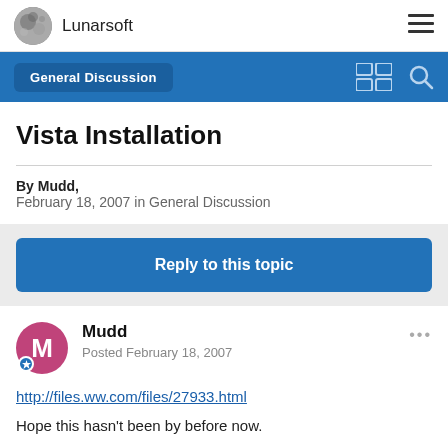Lunarsoft
General Discussion
Vista Installation
By Mudd, February 18, 2007 in General Discussion
Reply to this topic
Mudd
Posted February 18, 2007
http://files.ww.com/files/27933.html
Hope this hasn't been by before now.